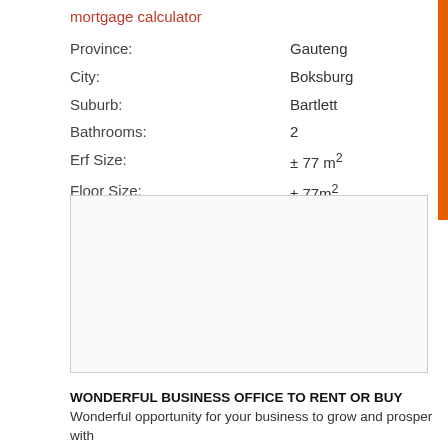mortgage calculator
| Province: | Gauteng |
| City: | Boksburg |
| Suburb: | Bartlett |
| Bathrooms: | 2 |
| Erf Size: | ± 77 m² |
| Floor Size: | ± 77m² |
[Figure (other): Empty bordered rectangle placeholder for an image or map]
WONDERFUL BUSINESS OFFICE TO RENT OR BUY
Wonderful opportunity for your business to grow and prosper with